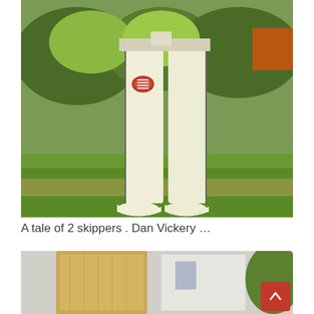[Figure (photo): Cricket player standing on grass field, wearing cream/white cricket trousers with dark piping and a Gray-Nicolls logo, white shoes. Background shows green bushes and grass.]
A tale of 2 skippers . Dan Vickery …
[Figure (photo): Partial view of a second photo showing a cricket bat and background with a white building and greenery.]